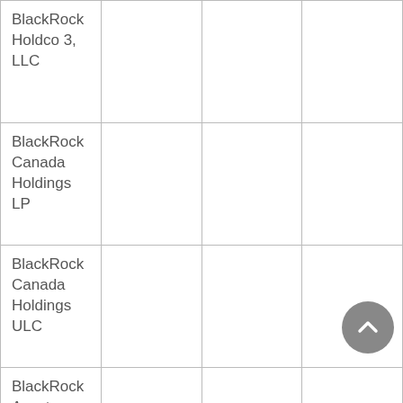| Name |  |  |  |
| --- | --- | --- | --- |
| BlackRock Holdco 3, LLC |  |  |  |
| BlackRock Canada Holdings LP |  |  |  |
| BlackRock Canada Holdings ULC |  |  |  |
| BlackRock Asset Management Canada Limited |  |  |  |
|  |  |  |  |